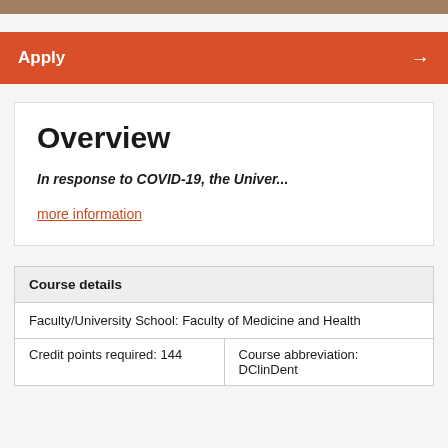Apply
Overview
In response to COVID-19, the Univer...
more information
| Course details |
| --- |
| Faculty/University School: Faculty of Medicine and Health |
| Credit points required: 144 | Course abbreviation: DClinDent |